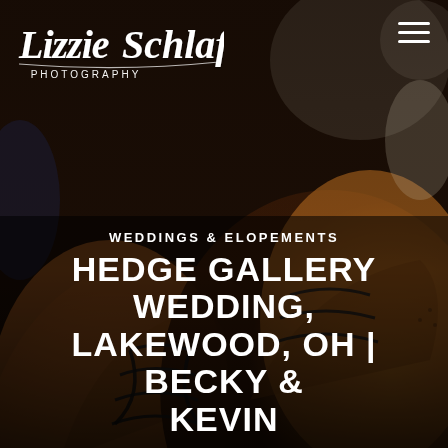[Figure (photo): Close-up photograph of two tan/brown leather brogue Oxford dress shoes with dark laces, laid on a surface. Bokeh background with fabric visible.]
Lizzie Schlafer Photography
WEDDINGS & ELOPEMENTS
HEDGE GALLERY WEDDING, LAKEWOOD, OH | BECKY & KEVIN